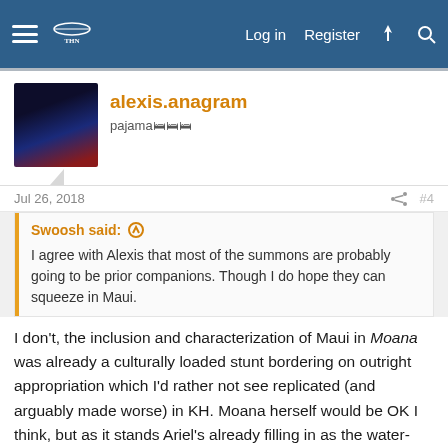Log in  Register
alexis.anagram
pajama🛌🛌🛌
Jul 26, 2018    #4
Swoosh said: ↑
I agree with Alexis that most of the summons are probably going to be prior companions. Though I do hope they can squeeze in Maui.
I don't, the inclusion and characterization of Maui in Moana was already a culturally loaded stunt bordering on outright appropriation which I'd rather not see replicated (and arguably made worse) in KH. Moana herself would be OK I think, but as it stands Ariel's already filling in as the water-based magic summon, so maybe in a future title.
Zettaflare